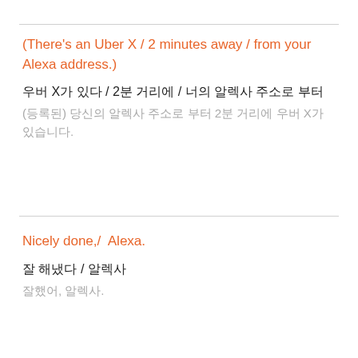(There's an Uber X / 2 minutes away / from your Alexa address.)
우버 X가 있다 / 2분 거리에 / 너의 알렉사 주소로 부터
(등록된) 당신의 알렉사 주소로 부터 2분 거리에 우버 X가 있습니다.
Nicely done,/  Alexa.
잘 해냈다 / 알렉사
잘했어, 알렉사.